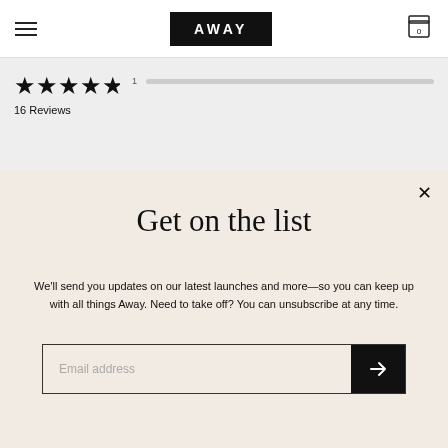AWAY
[Figure (screenshot): Five black star rating icons]
16 Reviews
1
Get on the list
We'll send you updates on our latest launches and more—so you can keep up with all things Away. Need to take off? You can unsubscribe at any time.
Email address